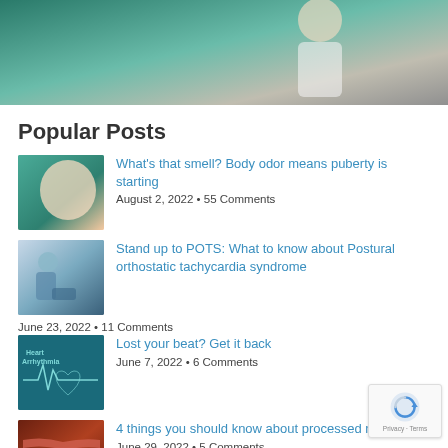[Figure (photo): Partial photo of a person in a white coat, medical/health context, cropped at top of page]
Popular Posts
[Figure (photo): Thumbnail image for body odor/puberty article]
What's that smell? Body odor means puberty is starting
August 2, 2022 • 55 Comments
[Figure (photo): Thumbnail image for POTS article showing person sitting]
Stand up to POTS: What to know about Postural orthostatic tachycardia syndrome
June 23, 2022 • 11 Comments
[Figure (photo): Thumbnail image for heart arrhythmia article with dark teal background and ECG graphic]
Lost your beat? Get it back
June 7, 2022 • 6 Comments
[Figure (photo): Thumbnail image of processed meats/bacon]
4 things you should know about processed meats
June 29, 2022 • 5 Comments
[Figure (photo): Thumbnail image of spiralized vegetables/summer produce]
Spiralizing: Tips to help you navigate summer produce